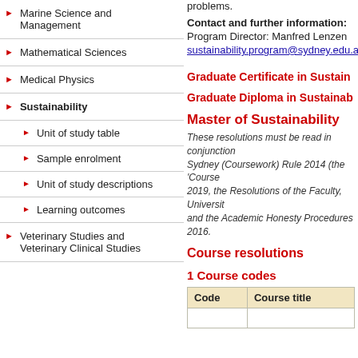Marine Science and Management
Mathematical Sciences
Medical Physics
Sustainability
Unit of study table
Sample enrolment
Unit of study descriptions
Learning outcomes
Veterinary Studies and Veterinary Clinical Studies
problems.
Contact and further information: Program Director: Manfred Lenzen sustainability.program@sydney.edu.au
Graduate Certificate in Sustain...
Graduate Diploma in Sustainab...
Master of Sustainability
These resolutions must be read in conjunction with the University of Sydney (Coursework) Rule 2014 (the 'Coursework Rule') as amended in 2019, the Resolutions of the Faculty, University of Sydney By-Law 1999, and the Academic Honesty Procedures 2016.
Course resolutions
1 Course codes
| Code | Course title |
| --- | --- |
|  |  |